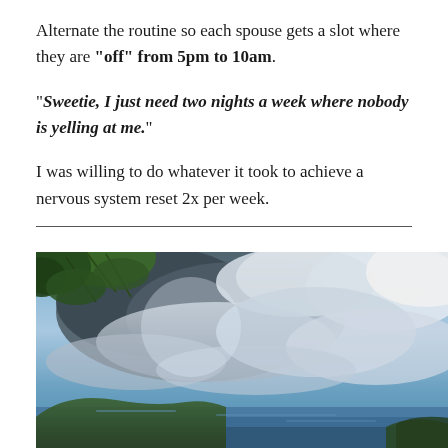Alternate the routine so each spouse gets a slot where they are "off" from 5pm to 10am.
"Sweetie, I just need two nights a week where nobody is yelling at me."
I was willing to do whatever it took to achieve a nervous system reset 2x per week.
[Figure (photo): Dramatic outdoor landscape photo showing a wide sky filled with large billowing grey-white clouds, with green leafy tree branches hanging in from the upper-left corner, and a distant coastline with hills and ocean visible at the bottom of the frame. The image has an HDR-processed look with deep blues and high contrast.]